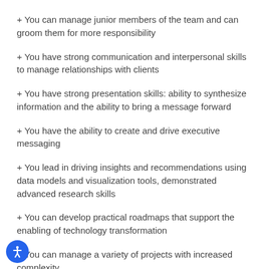+ You can manage junior members of the team and can groom them for more responsibility
+ You have strong communication and interpersonal skills to manage relationships with clients
+ You have strong presentation skills: ability to synthesize information and the ability to bring a message forward
+ You have the ability to create and drive executive messaging
+ You lead in driving insights and recommendations using data models and visualization tools, demonstrated advanced research skills
+ You can develop practical roadmaps that support the enabling of technology transformation
+ You can manage a variety of projects with increased complexity